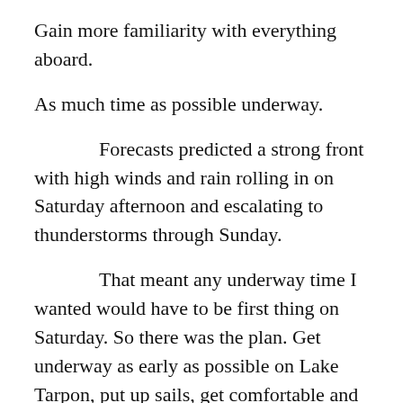Gain more familiarity with everything aboard.
As much time as possible underway.
Forecasts predicted a strong front with high winds and rain rolling in on Saturday afternoon and escalating to thunderstorms through Sunday.
That meant any underway time I wanted would have to be first thing on Saturday. So there was the plan. Get underway as early as possible on Lake Tarpon, put up sails, get comfortable and head back in before the front rolls in. Expected arrival for the front was noon to 5 pm.